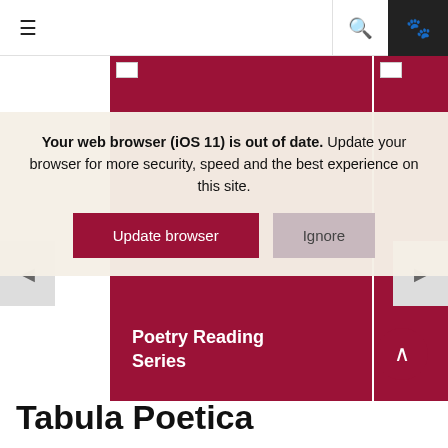≡  🔍  🐾
[Figure (screenshot): Crimson card with 'Poetry Reading Series' text and partial second card]
Your web browser (iOS 11) is out of date. Update your browser for more security, speed and the best experience on this site.
Update browser | Ignore
Tabula Poetica